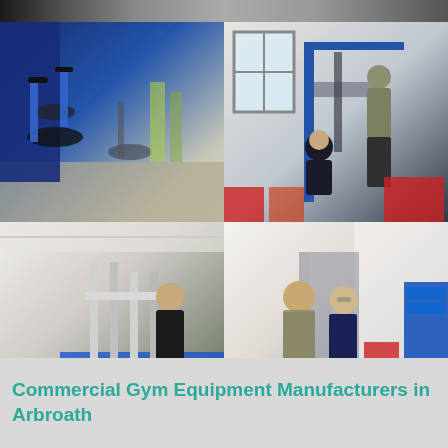[Figure (photo): Top partial strip showing gym/workshop photos cut off at top]
[Figure (photo): Gym interior with blue exercise bikes and equipment in a fitness facility]
[Figure (photo): Two workers repairing or assembling gym equipment in a workshop with blue racking]
[Figure (photo): Worker in a factory/warehouse assembling gym equipment parts on blue workbenches]
[Figure (photo): Two technicians working on a gym machine at a workbench with tools and equipment storage]
Commercial Gym Equipment Manufacturers in Arbroath